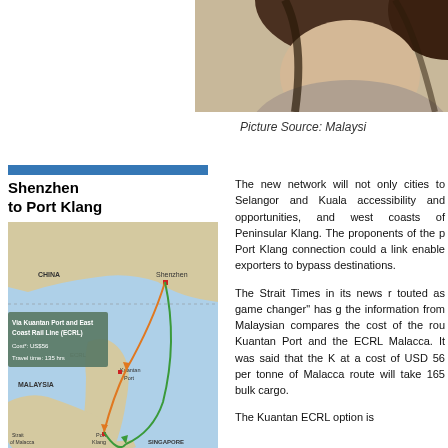[Figure (photo): Partial photo of a person's face/upper body cropped at top right of page]
Picture Source: Malaysi
[Figure (map): Map showing Shenzhen to Port Klang route via Kuantan Port and East Coast Rail Line (ECRL). Cost: US$56, Travel time: 135 hrs. Also shows route Via Singapore and Strait of Malacca. Covers China, Malaysia, Singapore area.]
The new network will not only cities to Selangor and Kuala accessibility and opportunities, and west coasts of Peninsular Klang. The proponents of the p Port Klang connection could a link enable exporters to bypass destinations.
The Strait Times in its news r touted as game changer" has g the information from Malaysian compares the cost of the rou Kuantan Port and the ECRL Malacca. It was said that the K at a cost of USD 56 per tonne of Malacca route will take 165 bulk cargo.
The Kuantan ECRL option is